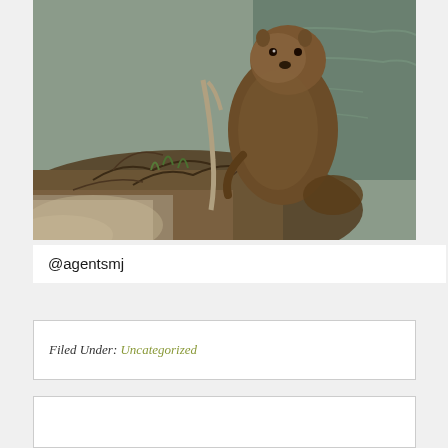[Figure (photo): A photograph of an otter or similar semi-aquatic mammal with brown fur, standing near the edge of water among roots, twigs, and dry grass. The foreground is blurred.]
@agentsmj
Filed Under: Uncategorized